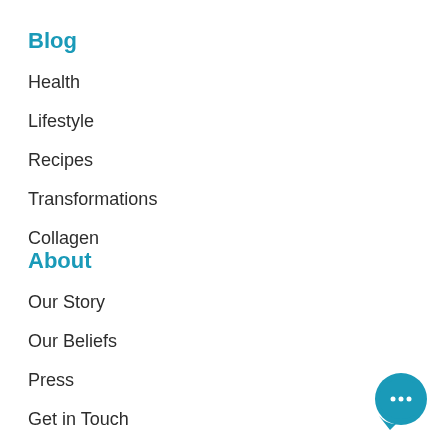Blog
Health
Lifestyle
Recipes
Transformations
Collagen
About
Our Story
Our Beliefs
Press
Get in Touch
[Figure (illustration): Blue circular chat bubble icon with three dots in the center, positioned in the bottom-right corner]